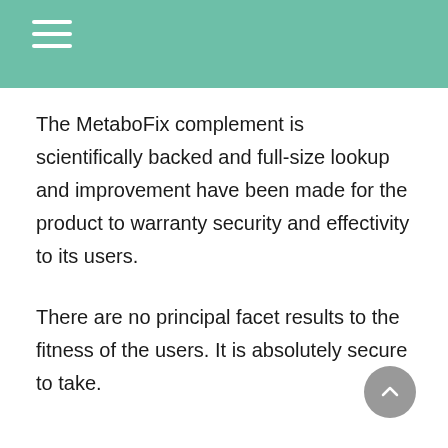The MetaboFix complement is scientifically backed and full-size lookup and improvement have been made for the product to warranty security and effectivity to its users.
There are no principal facet results to the fitness of the users. It is absolutely secure to take.